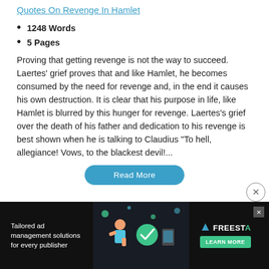Quotes On Revenge In Hamlet
1248 Words
5 Pages
Proving that getting revenge is not the way to succeed. Laertes' grief proves that and like Hamlet, he becomes consumed by the need for revenge and, in the end it causes his own destruction. It is clear that his purpose in life, like Hamlet is blurred by this hunger for revenge. Laertes's grief over the death of his father and dedication to his revenge is best shown when he is talking to Claudius “To hell, allegiance! Vows, to the blackest devil!...
[Figure (screenshot): Tailored ad management solutions for every publisher - Freesta advertisement banner with dark background and illustrated character]
Read More